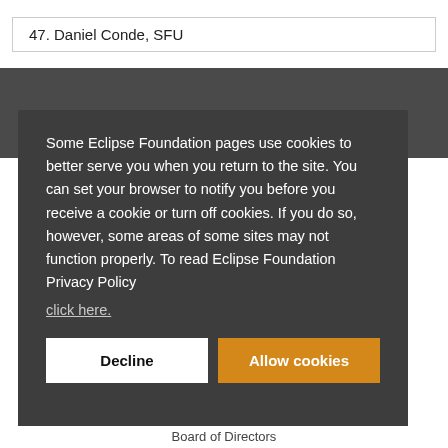47. Daniel Conde, SFU
Some Eclipse Foundation pages use cookies to better serve you when you return to the site. You can set your browser to notify you before you receive a cookie or turn off cookies. If you do so, however, some areas of some sites may not function properly. To read Eclipse Foundation Privacy Policy click here.
Decline
Allow cookies
Board of Directors